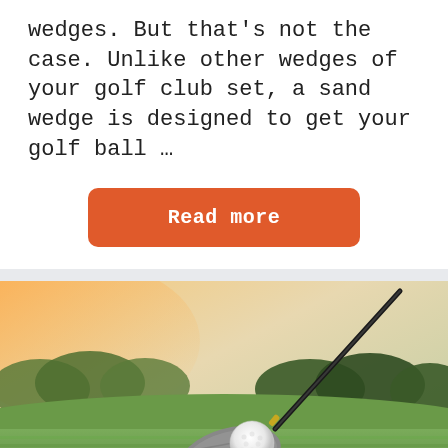wedges. But that's not the case. Unlike other wedges of your golf club set, a sand wedge is designed to get your golf ball …
[Figure (other): Orange rounded rectangle button with white bold text reading 'Read more']
[Figure (photo): Photo of a golf club driver head and white golf ball on an orange tee, resting on a green golf course fairway with trees and warm sunset light in the background.]